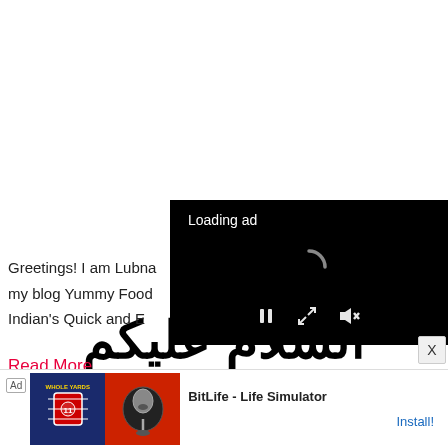السلام عليكم
Greetings! I am Lubna... my blog Yummy Food... Indian's Quick and E...
Read More
[Figure (screenshot): Black video ad overlay with 'Loading ad' text, a spinner, and playback controls (pause, expand, mute)]
[Figure (screenshot): Bottom banner ad: BitLife - Life Simulator with Install button, showing game imagery on left]